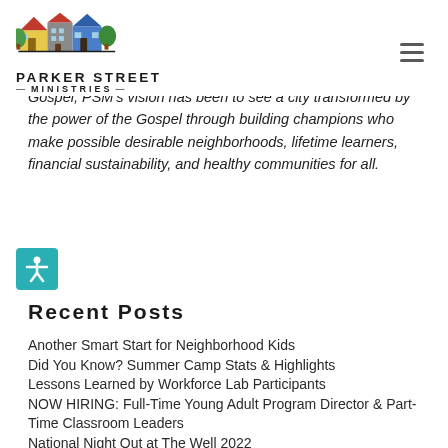PARKER STREET MINISTRIES
[Figure (logo): Parker Street Ministries logo with illustrated colorful houses and trees above the text PARKER STREET MINISTRIES]
...Gospel, PSM's vision has been to see a city transformed by the power of the Gospel through building champions who make possible desirable neighborhoods, lifetime learners, financial sustainability, and healthy communities for all.
[Figure (illustration): Accessibility icon - white human figure with arms outstretched on teal/cyan square background]
Recent Posts
Another Smart Start for Neighborhood Kids
Did You Know? Summer Camp Stats & Highlights
Lessons Learned by Workforce Lab Participants
NOW HIRING: Full-Time Young Adult Program Director & Part-Time Classroom Leaders
National Night Out at The Well 2022